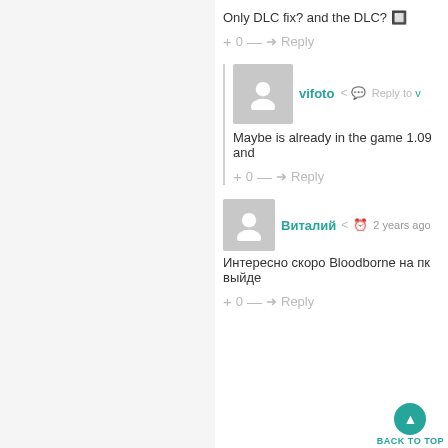Only DLC fix? and the DLC? 🔲
+ 0 — ➜ Reply
vifoto
Maybe is already in the game 1.09 and
+ 0 — ➜ Reply
Виталий  2 years ago
Интересно скоро Bloodborne на пк выйде
+ 0 — ➜ Reply
BACK TO TOP